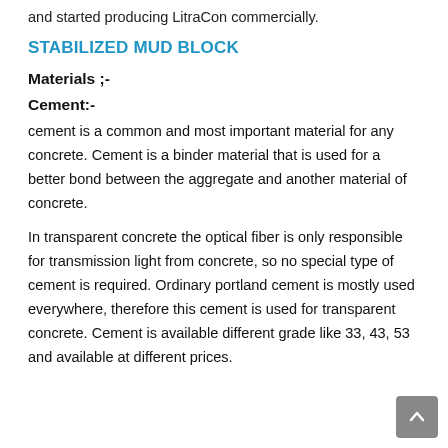and started producing LitraCon commercially.
STABILIZED MUD BLOCK
Materials ;-
Cement:-
cement is a common and most important material for any concrete. Cement is a binder material that is used for a better bond between the aggregate and another material of concrete.
In transparent concrete the optical fiber is only responsible for transmission light from concrete, so no special type of cement is required. Ordinary portland cement is mostly used everywhere, therefore this cement is used for transparent concrete. Cement is available different grade like 33, 43, 53 and available at different prices.